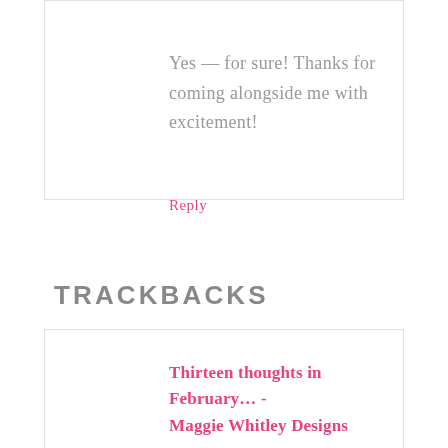Yes — for sure! Thanks for coming alongside me with excitement!
Reply
TRACKBACKS
Thirteen thoughts in February… - Maggie Whitley Designs says...